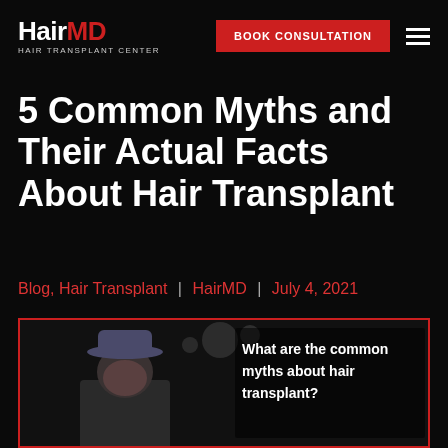HairMD HAIR TRANSPLANT CENTER | BOOK CONSULTATION
5 Common Myths and Their Actual Facts About Hair Transplant
Blog, Hair Transplant | HairMD | July 4, 2021
[Figure (photo): Photo of a person with a hat, with text overlay reading 'What are the common myths about hair transplant?']